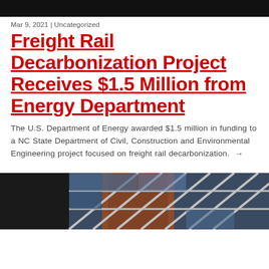[Figure (photo): Dark background image at top of page (partial, cropped)]
Mar 9, 2021 | Uncategorized
Freight Rail Decarbonization Project Receives $1.5 Million from Energy Department
The U.S. Department of Energy awarded $1.5 million in funding to a NC State Department of Civil, Construction and Environmental Engineering project focused on freight rail decarbonization. →
[Figure (photo): Partial photo of a building with diagonal window frames, brick wall visible, blue sky reflections in glass]